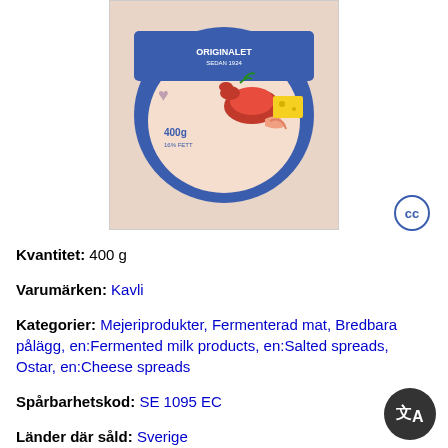[Figure (photo): Product photo of Kavli cheese spread in a round container with lobster/shrimp imagery, 400g, blue and pink packaging]
Kvantitet: 400 g
Varumärken: Kavli
Kategorier: Mejeriprodukter, Fermenterad mat, Bredbara pålägg, en:Fermented milk products, en:Salted spreads, Ostar, en:Cheese spreads
Spårbarhetskod: SE 1095 EC
Länder där såld: Sverige
Ingredienser